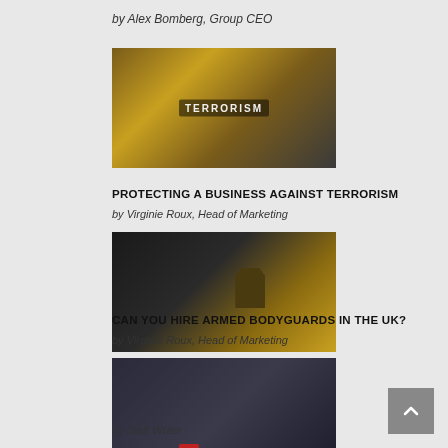by Alex Bomberg, Group CEO
[Figure (photo): World map with letter dice spelling out TERRORISM on a dark background]
PROTECTING A BUSINESS AGAINST TERRORISM
by Virginie Roux, Head of Marketing
[Figure (photo): A person holding a handgun with a golden/orange muzzle flash against a dark background]
CAN YOU HIRE ARMED BODYGUARDS IN THE UK?
by Virginie Roux, Head of Marketing
[Figure (photo): Two people in formal attire outside, one appearing to be a bodyguard escorting another person near a car door, with a red bag visible]
THE BBC SERIES BODYGUARD
by Staff Writer